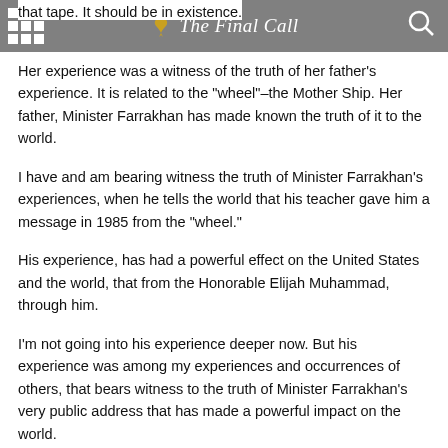that tape. It should be in existence.
The Final Call
Her experience was a witness of the truth of her father’s experience. It is related to the “wheel”–the Mother Ship. Her father, Minister Farrakhan has made known the truth of it to the world.
I have and am bearing witness the truth of Minister Farrakhan’s experiences, when he tells the world that his teacher gave him a message in 1985 from the “wheel.”
His experience, has had a powerful effect on the United States and the world, that from the Honorable Elijah Muhammad, through him.
I’m not going into his experience deeper now. But his experience was among my experiences and occurrences of others, that bears witness to the truth of Minister Farrakhan's very public address that has made a powerful impact on the world.
Now, I’m continuing from my last article that focused on words in the